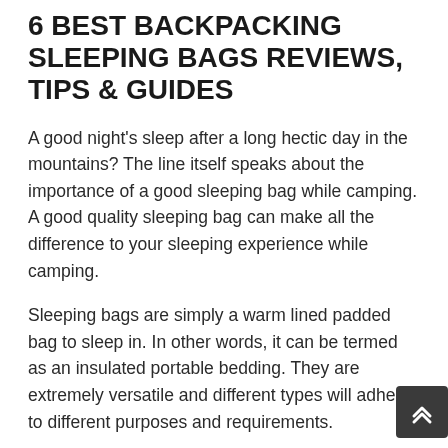6 BEST BACKPACKING SLEEPING BAGS REVIEWS, TIPS & GUIDES
A good night's sleep after a long hectic day in the mountains? The line itself speaks about the importance of a good sleeping bag while camping. A good quality sleeping bag can make all the difference to your sleeping experience while camping.
Sleeping bags are simply a warm lined padded bag to sleep in. In other words, it can be termed as an insulated portable bedding. They are extremely versatile and different types will adhere to different purposes and requirements.
The main purpose of these bags is to provide warmth and a comfortable sleep.